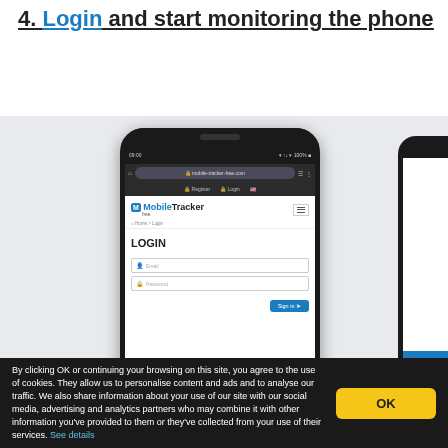4. Login and start monitoring the phone
[Figure (screenshot): Screenshot of a mobile phone displaying the mobile-tracker-free.com website login page, showing a LOGIN form with Email and Password fields and a Sign In button. A partially visible second phone is shown at the right edge.]
By clicking OK or continuing your browsing on this site, you agree to the use of cookies. They allow us to personalise content and ads and to analyse our traffic. We also share information about your use of our site with our social media, advertising and analytics partners who may combine it with other information you've provided to them or they've collected from your use of their services. See details